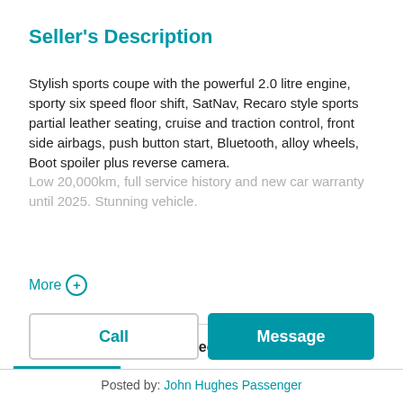Seller's Description
Stylish sports coupe with the powerful 2.0 litre engine, sporty six speed floor shift, SatNav, Recaro style sports partial leather seating, cruise and traction control, front side airbags, push button start, Bluetooth, alloy wheels, Boot spoiler plus reverse camera. Low 20,000km, full service history and new car warranty until 2025. Stunning vehicle.
More ⊕
Details  Specs  Features
Call
Message
Posted by: John Hughes Passenger